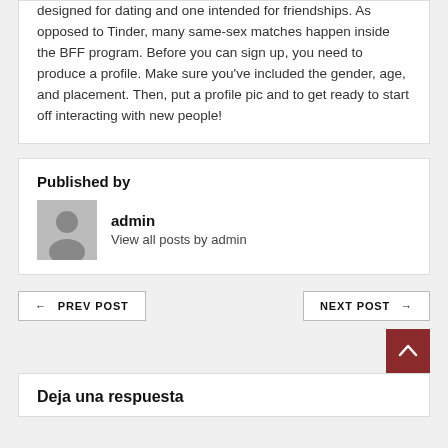designed for dating and one intended for friendships. As opposed to Tinder, many same-sex matches happen inside the BFF program. Before you can sign up, you need to produce a profile. Make sure you've included the gender, age, and placement. Then, put a profile pic and to get ready to start off interacting with new people!
Published by
[Figure (photo): Gray avatar/person placeholder icon]
admin
View all posts by admin
← PREV POST
NEXT POST →
Deja una respuesta